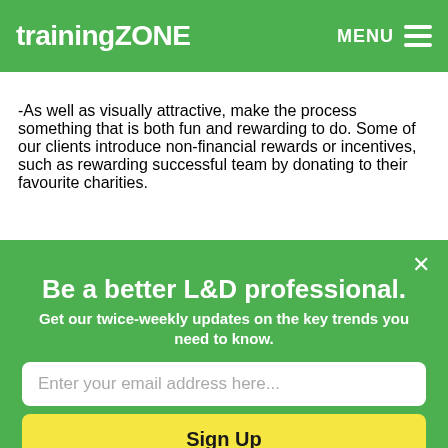trainingZONE  MENU
-As well as visually attractive, make the process something that is both fun and rewarding to do. Some of our clients introduce non-financial rewards or incentives, such as rewarding successful team by donating to their favourite charities.
Be a better L&D professional.
Get our twice-weekly updates on the key trends you need to know.
Enter your email address here...
Sign Up